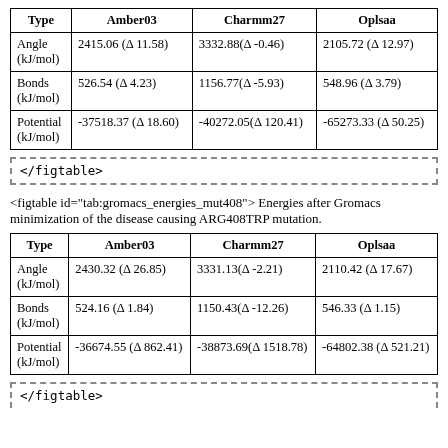| Type | Amber03 | Charmm27 | Oplsaa |
| --- | --- | --- | --- |
| Angle (kJ/mol) | 2415.06 (Δ 11.58) | 3332.88(Δ -0.46) | 2105.72 (Δ 12.97) |
| Bonds (kJ/mol) | 526.54 (Δ 4.23) | 1156.77(Δ -5.93) | 548.96 (Δ 3.79) |
| Potential (kJ/mol) | -37518.37 (Δ 18.60) | -40272.05(Δ 120.41) | -65273.33 (Δ 50.25) |
</figtable>
<figtable id="tab:gromacs_energies_mut408"> Energies after Gromacs minimization of the disease causing ARG408TRP mutation.
| Type | Amber03 | Charmm27 | Oplsaa |
| --- | --- | --- | --- |
| Angle (kJ/mol) | 2430.32 (Δ 26.85) | 3331.13(Δ -2.21) | 2110.42 (Δ 17.67) |
| Bonds (kJ/mol) | 524.16 (Δ 1.84) | 1150.43(Δ -12.26) | 546.33 (Δ 1.15) |
| Potential (kJ/mol) | -36674.55 (Δ 862.41) | -38873.69(Δ 1518.78) | -64802.38 (Δ 521.21) |
</figtable>